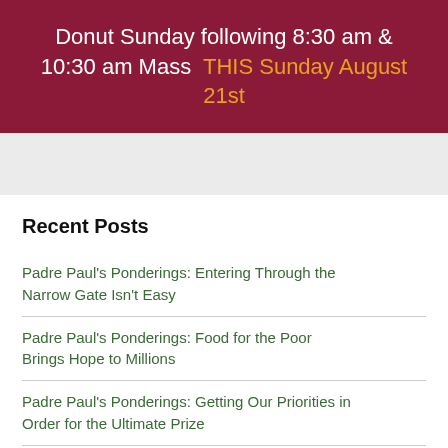Donut Sunday following 8:30 am & 10:30 am Mass  THIS Sunday August 21st
Recent Posts
Padre Paul's Ponderings: Entering Through the Narrow Gate Isn't Easy
Padre Paul's Ponderings: Food for the Poor Brings Hope to Millions
Padre Paul's Ponderings: Getting Our Priorities in Order for the Ultimate Prize
Padre Paul's Ponderings: ...